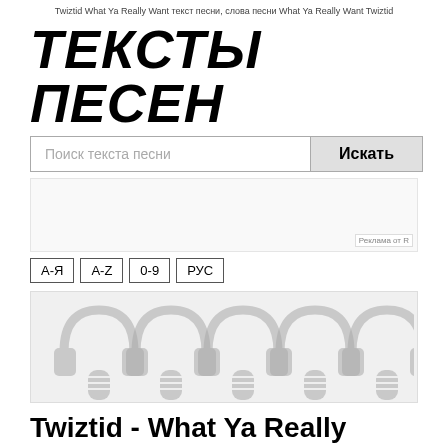Twiztid What Ya Really Want текст песни, слова песни What Ya Really Want Twiztid
ТЕКСТЫ ПЕСЕН
Поиск текста песни [search input] Искать
[Figure (other): Advertisement block with label 'Реклама от R']
А-Я  A-Z  0-9  РУС
[Figure (illustration): Five grey headphone-and-microphone icons in a row on a light grey background]
Twiztid - What Ya Really Want
[Figure (photo): Dark video thumbnail at bottom of page]